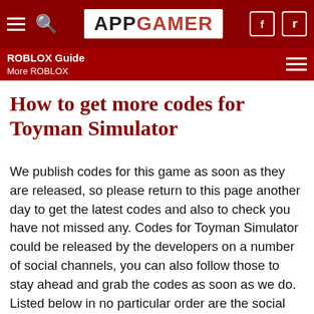APP GAMER — ROBLOX Guide / More ROBLOX
How to get more codes for Toyman Simulator
We publish codes for this game as soon as they are released, so please return to this page another day to get the latest codes and also to check you have not missed any. Codes for Toyman Simulator could be released by the developers on a number of social channels, you can also follow those to stay ahead and grab the codes as soon as we do. Listed below in no particular order are the social channels that we follow in